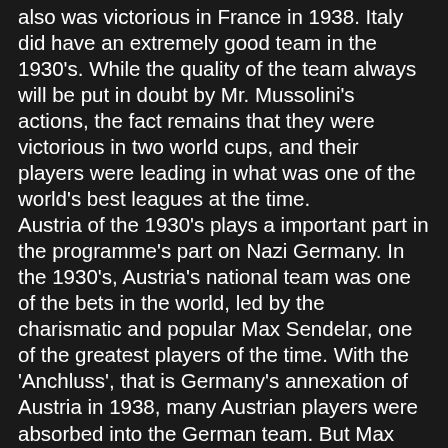also was victorious in France in 1938. Italy did have an extremely good team in the 1930's. While the quality of the team always will be put in doubt by Mr. Mussolini's actions, the fact remains that they were victorious in two world cups, and their players were leading in what was one of the world's best leagues at the time. Austria of the 1930's plays a important part in the programme's part on Nazi Germany. In the 1930's, Austria's national team was one of the bets in the world, led by the charismatic and popular Max Sendelar, one of the greatest players of the time. With the 'Anchluss', that is Germany's annexation of Austria in 1938, many Austrian players were absorbed into the German team. But Max Sendelar became a symbol of Austrian nationalism, and died under mysterious circumstances in 1939. The program focuses much on these mysterious circumstances under which he was found gassed in bed, together with his Italian girlfriend. It is obviously insinuated that he was killed by the Nazis. Nothing has ever been clarified, but the method would be very like the Nazis. But this is not the only focus on Hitler. As is well-known, the Nazis were exceptional in using propaganda as a political tool. The 1936 Olympics were the first with the massive use of cameras, continuing to perpetuate the political agenda of